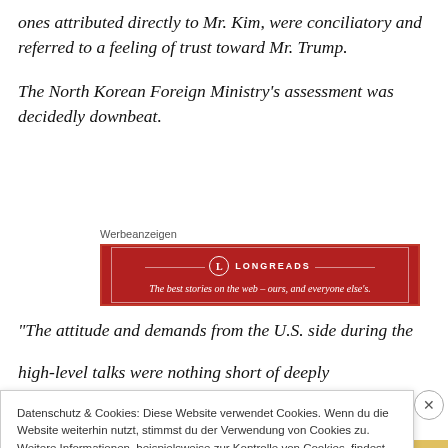ones attributed directly to Mr. Kim, were conciliatory and referred to a feeling of trust toward Mr. Trump.
The North Korean Foreign Ministry's assessment was decidedly downbeat.
[Figure (other): Longreads advertisement banner: red background with logo circle containing 'L', text 'LONGREADS', tagline 'The best stories on the web – ours, and everyone else's.']
“The attitude and demands from the U.S. side during the high-level talks were nothing short of deeply
Datenschutz & Cookies: Diese Website verwendet Cookies. Wenn du die Website weiterhin nutzt, stimmst du der Verwendung von Cookies zu. Weitere Informationen, beispielsweise zur Kontrolle von Cookies, findest du hier: Cookie-Richtlinie
Schließen und Akzeptieren